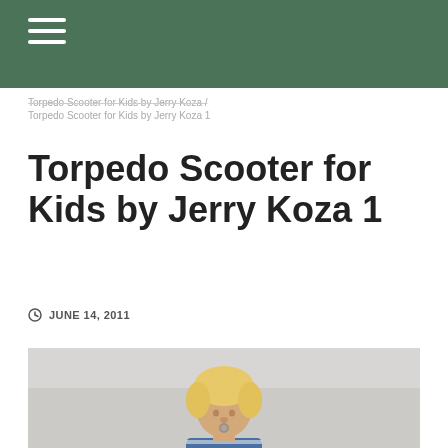Torpedo Scooter for Kids by Jerry Koza / Torpedo Scooter for Kids by Jerry Koza 1
Torpedo Scooter for Kids by Jerry Koza 1
JUNE 14, 2011
[Figure (photo): Young blond toddler with a pacifier wearing a blue and white striped shirt with suspenders, looking downward against a light gray background.]